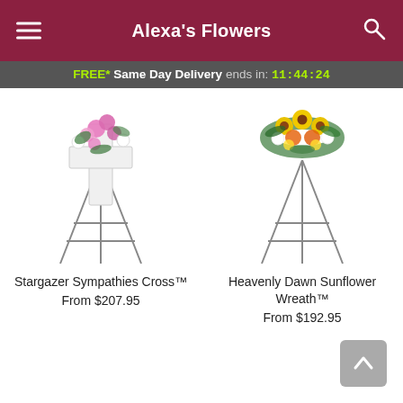Alexa's Flowers
FREE* Same Day Delivery ends in: 11:44:24
[Figure (photo): Stargazer Sympathies Cross floral arrangement on an easel stand with pink lilies and white flowers]
Stargazer Sympathies Cross™
From $207.95
[Figure (photo): Heavenly Dawn Sunflower Wreath floral arrangement on an easel stand with sunflowers, orange and yellow flowers]
Heavenly Dawn Sunflower Wreath™
From $192.95